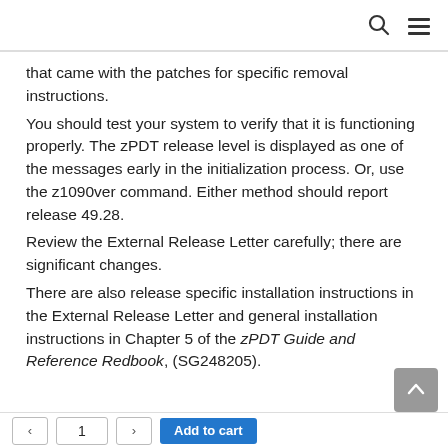search and menu icons
that came with the patches for specific removal instructions.
You should test your system to verify that it is functioning properly. The zPDT release level is displayed as one of the messages early in the initialization process. Or, use the z1090ver command. Either method should report release 49.28.
Review the External Release Letter carefully; there are significant changes.
There are also release specific installation instructions in the External Release Letter and general installation instructions in Chapter 5 of the zPDT Guide and Reference Redbook, (SG248205).